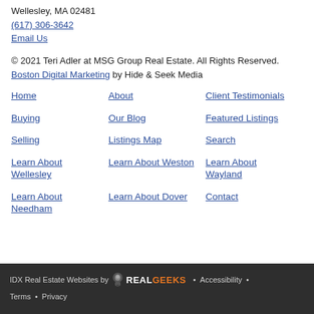Wellesley, MA 02481
(617) 306-3642
Email Us
© 2021 Teri Adler at MSG Group Real Estate. All Rights Reserved. Boston Digital Marketing by Hide & Seek Media
Home
About
Client Testimonials
Buying
Our Blog
Featured Listings
Selling
Listings Map
Search
Learn About Wellesley
Learn About Weston
Learn About Wayland
Learn About Needham
Learn About Dover
Contact
IDX Real Estate Websites by RealGeeks • Accessibility • Terms • Privacy